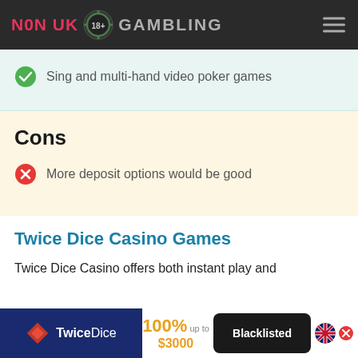N0N UK 18+ GAMBLING
Sing and multi-hand video poker games
Cons
More deposit options would be good
Twice Dice Casino Games
Twice Dice Casino offers both instant play and
TwiceDice | 100% up to $3000 | Blacklisted